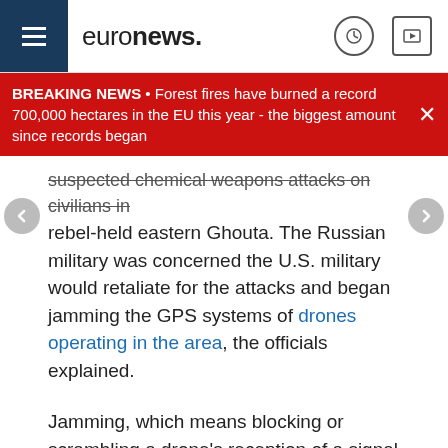euronews.
BREAKING NEWS • Forest fires have burned a record 700,000 hectares in the EU this year - the biggest amount since records began
suspected chemical weapons attacks on civilians in rebel-held eastern Ghouta. The Russian military was concerned the U.S. military would retaliate for the attacks and began jamming the GPS systems of drones operating in the area, the officials explained.
Jamming, which means blocking or scrambling a drone's reception of a signal from a GPS satellite, can be uncomplicated, according to Dr. Todd Humphreys, the director of the Radionavigation Laboratory at the University of Texas at Austin.
There was a problem